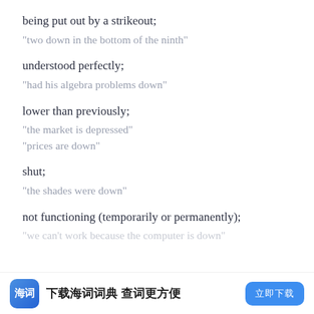being put out by a strikeout;
"two down in the bottom of the ninth"
understood perfectly;
"had his algebra problems down"
lower than previously;
"the market is depressed"
"prices are down"
shut;
"the shades were down"
not functioning (temporarily or permanently);
"we can't work because the computer is down"
下载海词词典 查词更方便